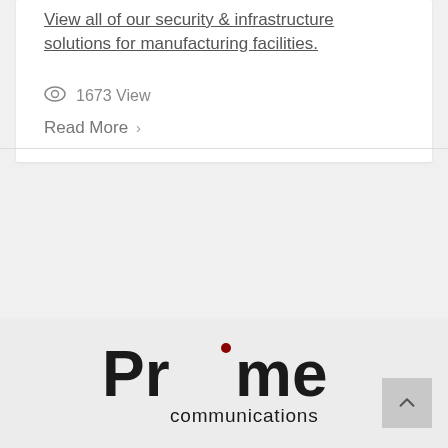View all of our security & infrastructure solutions for manufacturing facilities.
1673 View
Read More
[Figure (logo): Prime Communications logo with a red crescent shape replacing the 'i' dot in 'Prime', and 'communications' in smaller text below.]